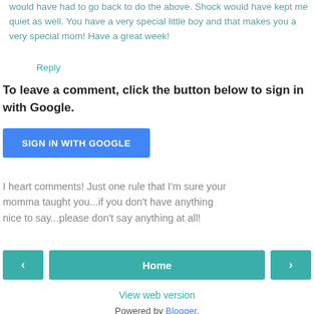would have had to go back to do the above. Shock would have kept me quiet as well. You have a very special little boy and that makes you a very special mom! Have a great week!
Reply
To leave a comment, click the button below to sign in with Google.
[Figure (other): Blue button labeled SIGN IN WITH GOOGLE]
I heart comments! Just one rule that I'm sure your momma taught you...if you don't have anything nice to say...please don't say anything at all!
[Figure (other): Navigation bar with left arrow button, Home button, and right arrow button]
View web version
Powered by Blogger.